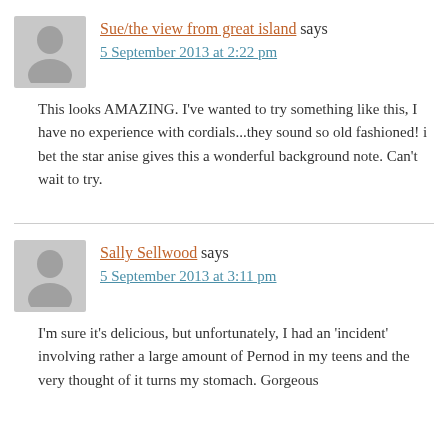Sue/the view from great island says
5 September 2013 at 2:22 pm
This looks AMAZING. I've wanted to try something like this, I have no experience with cordials...they sound so old fashioned! i bet the star anise gives this a wonderful background note. Can't wait to try.
Sally Sellwood says
5 September 2013 at 3:11 pm
I'm sure it's delicious, but unfortunately, I had an 'incident' involving rather a large amount of Pernod in my teens and the very thought of it turns my stomach. Gorgeous